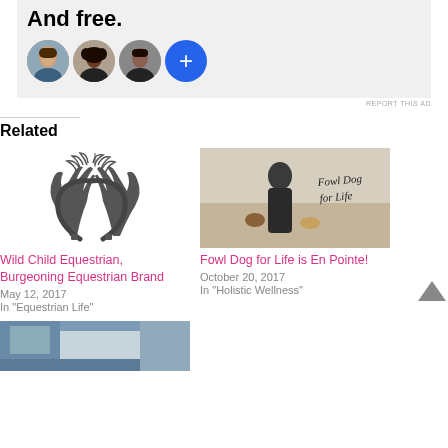[Figure (infographic): Ad banner with bold text 'And free.' and a row of four circular avatars (three profile photos and one blue plus button)]
REPORT THIS AD
Related
[Figure (illustration): Wild Child Equestrian logo — antler/horseshoe design with leaf wreath on top, dark gray on white]
Wild Child Equestrian, Burgeoning Equestrian Brand
May 12, 2017
In "Equestrian Life"
[Figure (photo): Photo of a person in dark jacket holding dogs on a beach. Cursive text overlay reads 'Fowl Dog for Life']
Fowl Dog for Life is En Pointe!
October 20, 2017
In "Holistic Wellness"
[Figure (photo): Partial photo of a building exterior, cut off at bottom of page]